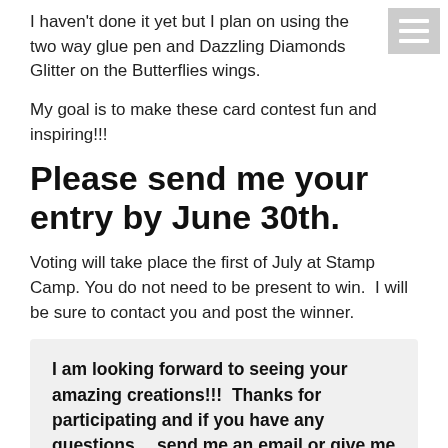I haven't done it yet but I plan on using the two way glue pen and Dazzling Diamonds Glitter on the Butterflies wings.
My goal is to make these card contest fun and inspiring!!!
Please send me your entry by June 30th.
Voting will take place the first of July at Stamp Camp. You do not need to be present to win.  I will be sure to contact you and post the winner.
I am looking forward to seeing your amazing creations!!!  Thanks for participating and if you have any questions… send me an email or give me a call.